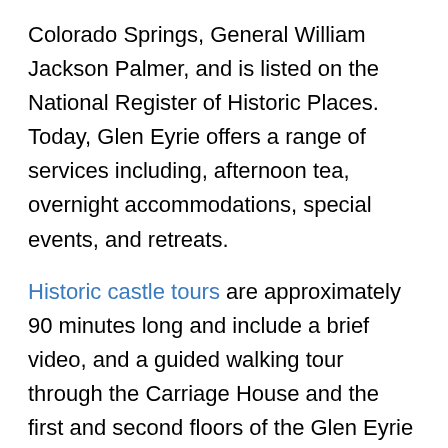Colorado Springs, General William Jackson Palmer, and is listed on the National Register of Historic Places. Today, Glen Eyrie offers a range of services including, afternoon tea, overnight accommodations, special events, and retreats.
Historic castle tours are approximately 90 minutes long and include a brief video, and a guided walking tour through the Carriage House and the first and second floors of the Glen Eyrie Castle with trained Tour Guides will entertain you with stories of the Palmer family, Glen Eyrie Estate, the unique architecture of The Castle, surrounding landscape, and Colorado Springs history.
Patrons with a valid PPLD library card can book a pass online for Glen Eyrie castle tours available Monday through Thursday at 9 a.m. Each experience is for…